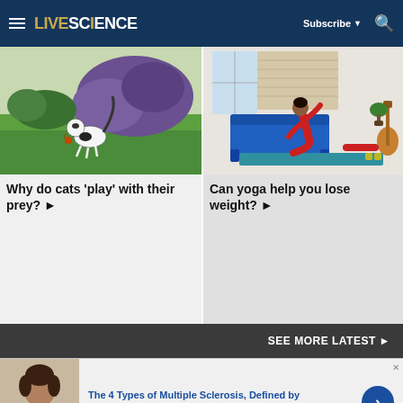LIVESCIENCE | Subscribe | Search
[Figure (photo): A black and white cat playing with prey in a garden with green grass and purple flowers]
Why do cats 'play' with their prey? ▶
[Figure (photo): A woman in red athletic wear doing a yoga pose (crescent/lunge) on a blue mat in a living room]
Can yoga help you lose weight? ▶
SEE MORE LATEST ▶
[Figure (photo): A woman in medical attire, appears to be a doctor]
The 4 Types of Multiple Sclerosis, Defined by
n/a